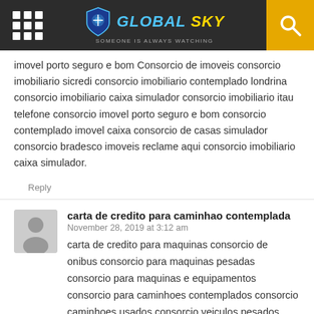GLOBAL SKY — SOMEONE IS ALWAYS WATCHING
imovel porto seguro e bom Consorcio de imoveis consorcio imobiliario sicredi consorcio imobiliario contemplado londrina consorcio imobiliario caixa simulador consorcio imobiliario itau telefone consorcio imovel porto seguro e bom consorcio contemplado imovel caixa consorcio de casas simulador consorcio bradesco imoveis reclame aqui consorcio imobiliario caixa simulador.
Reply
carta de credito para caminhao contemplada
November 28, 2019 at 3:12 am
carta de credito para maquinas consorcio de onibus consorcio para maquinas pesadas consorcio para maquinas e equipamentos consorcio para caminhoes contemplados consorcio caminhoes usados consorcio veiculos pesados consorcio de onibus carta de credito